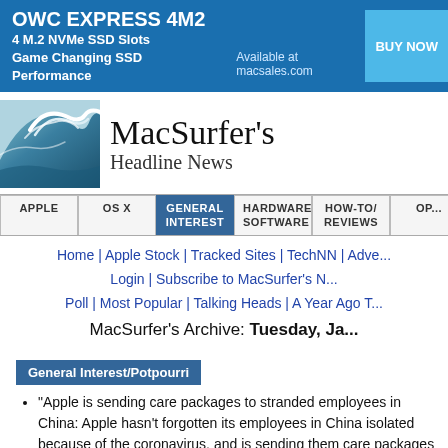[Figure (infographic): OWC Express 4M2 advertisement banner. Blue background with white text: OWC EXPRESS 4M2, 4 M.2 NVMe SSD Slots, Game Changing SSD Performance. Available at macsales.com. BUY NOW button.]
[Figure (logo): MacSurfer's Headline News logo with ocean wave image on the left and serif text on the right.]
APPLE | OS X | GENERAL INTEREST | HARDWARE/SOFTWARE | HOW-TO/REVIEWS | OP...
Home | Apple Stock | Tracked Sites | TechNN | Adve... Login | Subscribe to MacSurfer's N... Poll | Most Popular | Talking Heads | A Year Ago T...
MacSurfer's Archive: Tuesday, Ja...
General Interest/Potpourri
"Apple is sending care packages to stranded employees in China: Apple hasn't forgotten its employees in China isolated because of the coronavirus, and is sending them care packages containing food, medical supplies, and an...